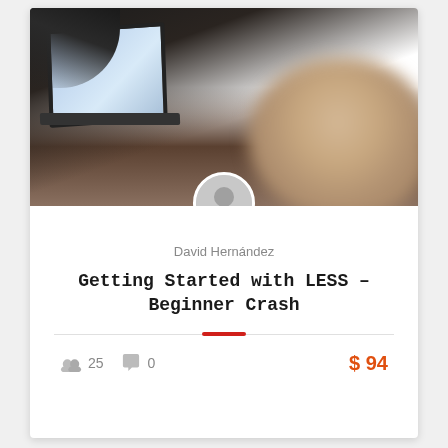[Figure (photo): Photo of person at laptop, blurred, dark background with warm-toned blurred head in foreground]
David Hernández
Getting Started with LESS – Beginner Crash
25  0  $94